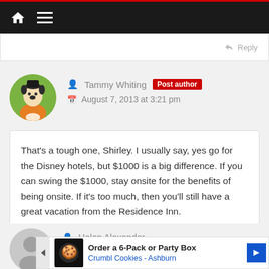[Figure (screenshot): Website navigation bar with home icon and hamburger menu on dark background with red top border]
↩ Reply
Tammy Whiting  Post author
August 7, 2013 at 3:21 pm
That's a tough one, Shirley. I usually say, yes go for the Disney hotels, but $1000 is a big difference. If you can swing the $1000, stay onsite for the benefits of being onsite. If it's too much, then you'll still have a great vacation from the Residence Inn.
↩ Reply
Helen Alexander
[Figure (screenshot): Ad banner: Order a 6-Pack or Party Box - Crumbl Cookies - Ashburn]